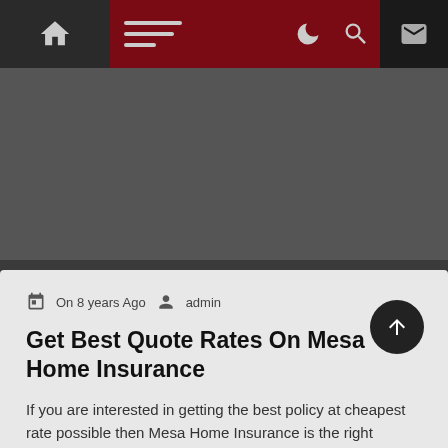Home | Menu | Dark mode | Search | Mail
[Figure (other): Gray advertisement/banner area]
On 8 years Ago   admin
Get Best Quote Rates On Mesa Home Insurance
If you are interested in getting the best policy at cheapest rate possible then Mesa Home Insurance is the right placeA home insurance policy acts a...
Read More